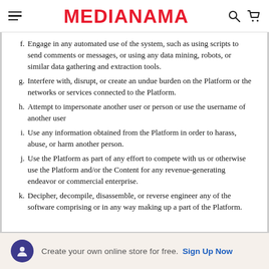MEDIANAMA
f. Engage in any automated use of the system, such as using scripts to send comments or messages, or using any data mining, robots, or similar data gathering and extraction tools.
g. Interfere with, disrupt, or create an undue burden on the Platform or the networks or services connected to the Platform.
h. Attempt to impersonate another user or person or use the username of another user
i. Use any information obtained from the Platform in order to harass, abuse, or harm another person.
j. Use the Platform as part of any effort to compete with us or otherwise use the Platform and/or the Content for any revenue-generating endeavor or commercial enterprise.
k. Decipher, decompile, disassemble, or reverse engineer any of the software comprising or in any way making up a part of the Platform.
Create your own online store for free. Sign Up Now